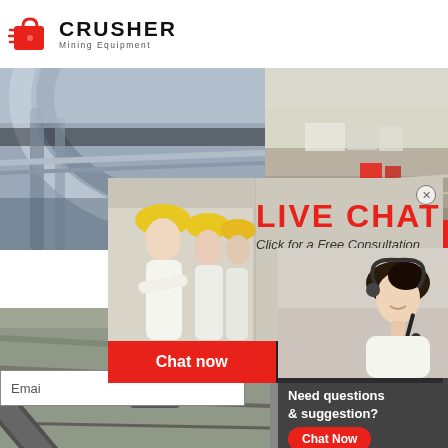[Figure (logo): Crusher Mining Equipment logo with red shopping cart icon and bold CRUSHER text]
[Figure (photo): Close-up of large industrial crusher/grinding mill mechanical arm, grey metallic]
[Figure (photo): Aerial view of open-pit mine site with equipment and red machinery]
[Figure (infographic): Live chat popup overlay with construction workers in hard hats, LIVE CHAT title in red, Click for a Free Consultation, Chat now and Chat later buttons]
24Hrs Online
[Figure (photo): Female customer service representative with headset smiling]
Need questions & suggestion?
Chat Now
Enquiry
limingjlmofen@sina.com
[Figure (photo): Open pit quarry/mine wall with heavy machinery and diagonal conveyor]
[Figure (photo): Industrial mining/processing facility with silos and mountain backdrop]
Email
Chat now
Chat later